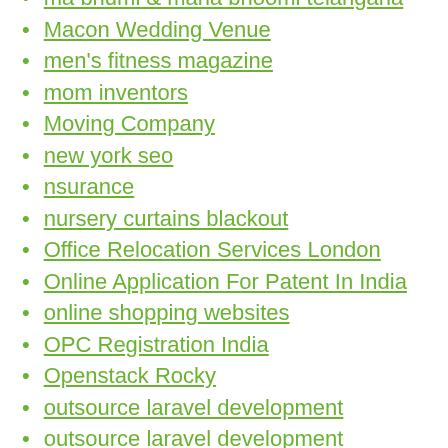ma bhumi & mana bhoomi telangana
Macon Wedding Venue
men's fitness magazine
mom inventors
Moving Company
new york seo
nsurance
nursery curtains blackout
Office Relocation Services London
Online Application For Patent In India
online shopping websites
OPC Registration India
Openstack Rocky
outsource laravel development
outsource laravel development company
padfolio
paint
patent InventHelp
pest control surrey
physiology research